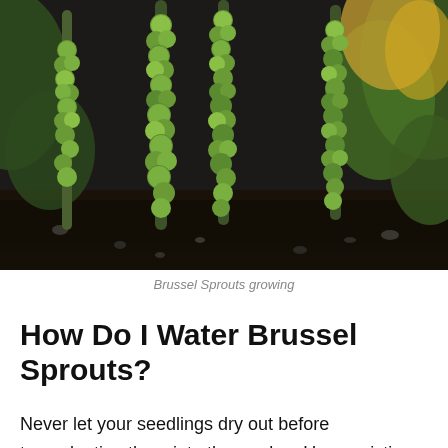[Figure (photo): Photograph of Brussels sprouts growing on tall stalks in a garden, dark soil visible at the base, large green leaves in the background]
Brussel Sprouts growing
How Do I Water Brussel Sprouts?
Never let your seedlings dry out before transplanting them into the garden. Use a misting